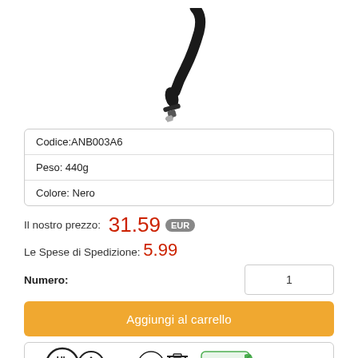[Figure (photo): Black DC power connector cable tip, close-up product photo on white background]
| Codice:ANB003A6 |
| Peso: 440g |
| Colore: Nero |
Il nostro prezzo: 31.59 EUR
Le Spese di Spedizione: 5.99
Numero: 1
Aggiungi al carrello
[Figure (logo): Certification logos: UL, recycling symbol, CE, RoHS Compliant, and other compliance marks]